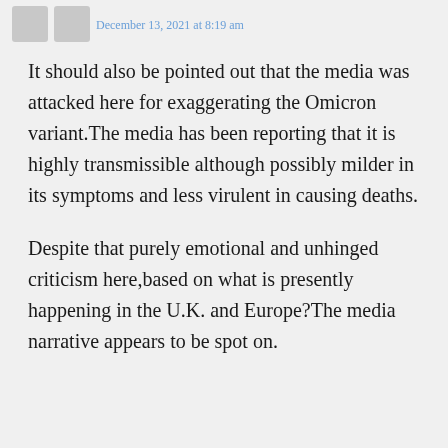December 13, 2021 at 8:19 am
It should also be pointed out that the media was attacked here for exaggerating the Omicron variant.The media has been reporting that it is highly transmissible although possibly milder in its symptoms and less virulent in causing deaths.
Despite that purely emotional and unhinged criticism here,based on what is presently happening in the U.K. and Europe?The media narrative appears to be spot on.